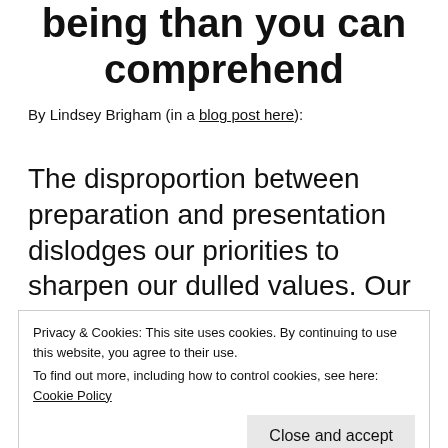being than you can comprehend
By Lindsey Brigham (in a blog post here):
The disproportion between preparation and presentation dislodges our priorities to sharpen our dulled values. Our cultural context presses us to prioritize the moment of satisfaction and to scorn
Privacy & Cookies: This site uses cookies. By continuing to use this website, you agree to their use.
To find out more, including how to control cookies, see here: Cookie Policy
Close and accept
The depth of our appreciation for